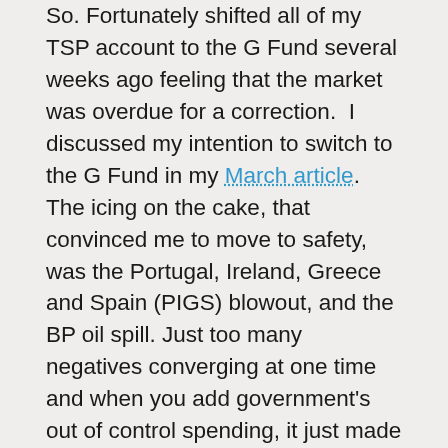So. Fortunately shifted all of my TSP account to the G Fund several weeks ago feeling that the market was overdue for a correction. I discussed my intention to switch to the G Fund in my March article. The icing on the cake, that convinced me to move to safety, was the Portugal, Ireland, Greece and Spain (PIGS) blowout, and the BP oil spill. Just too many negatives converging at one time and when you add government's out of control spending, it just made sense to seek higher ground and avoid insanity for another round. Only time will tell if I made the right move but either way, the G Fund is guaranteed to never decrease in value and it still pays a hefty yield compared to CDs and Money Market accounts. After the market recovers I'll reallocate my funds back into stocks. Explore your TSP options to better understand how to manage your account. As always, I don't recommend anyone changing their TSP